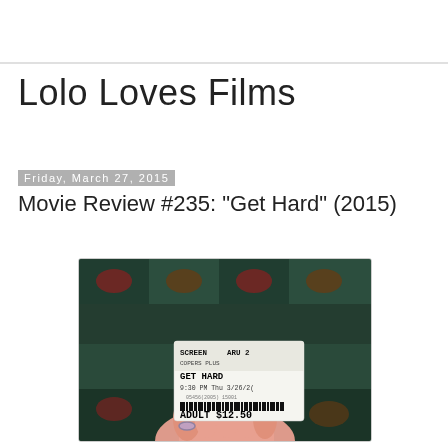Lolo Loves Films
Friday, March 27, 2015
Movie Review #235: "Get Hard" (2015)
[Figure (photo): A photo of a movie ticket stub being held in a hand. The ticket reads: SCREENARU 2, GET HARD, 9:30 PM Thu 3/26/2(0), barcode, ADULT $12.50. Background shows patterned carpet.]